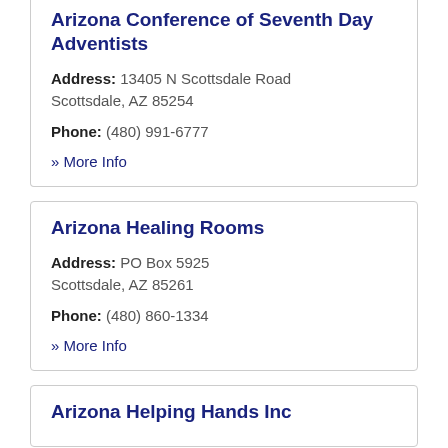Arizona Conference of Seventh Day Adventists
Address: 13405 N Scottsdale Road Scottsdale, AZ 85254
Phone: (480) 991-6777
» More Info
Arizona Healing Rooms
Address: PO Box 5925 Scottsdale, AZ 85261
Phone: (480) 860-1334
» More Info
Arizona Helping Hands Inc